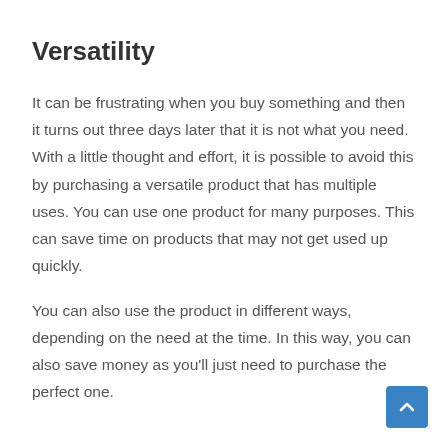Versatility
It can be frustrating when you buy something and then it turns out three days later that it is not what you need. With a little thought and effort, it is possible to avoid this by purchasing a versatile product that has multiple uses. You can use one product for many purposes. This can save time on products that may not get used up quickly.
You can also use the product in different ways, depending on the need at the time. In this way, you can also save money as you'll just need to purchase the perfect one.